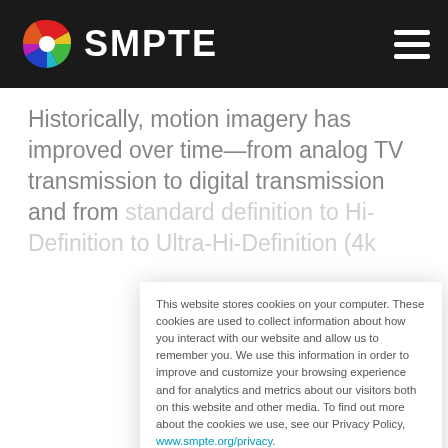SMPTE
Historically, motion imagery has improved over time—from analog TV transmission to digital transmission and from standard definition to Hi-Definition to Ultra-Hi-Definition (4k
This website stores cookies on your computer. These cookies are used to collect information about how you interact with our website and allow us to remember you. We use this information in order to improve and customize your browsing experience and for analytics and metrics about our visitors both on this website and other media. To find out more about the cookies we use, see our Privacy Policy, www.smpte.org/privacy.
If you opt out of this tracking, a cookie will be set in your browser to remember your preference not to be tracked, and we will only use non-personally identifiable cookies strictly necessary for your SMPTE site experience.
Accept
Decline